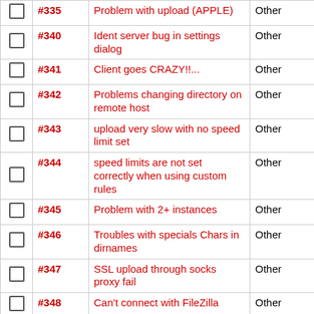|  | ID | Description | Type |
| --- | --- | --- | --- |
|  | #335 | Problem with upload (APPLE) | Other |
|  | #340 | Ident server bug in settings dialog | Other |
|  | #341 | Client goes CRAZY!!... | Other |
|  | #342 | Problems changing directory on remote host | Other |
|  | #343 | upload very slow with no speed limit set | Other |
|  | #344 | speed limits are not set correctly when using custom rules | Other |
|  | #345 | Problem with 2+ instances | Other |
|  | #346 | Troubles with specials Chars in dirnames | Other |
|  | #347 | SSL upload through socks proxy fail | Other |
|  | #348 | Can't connect with FileZilla | Other |
|  | #349 | Address incorrectly identified Ver 2.17 | Other |
|  | #350 | Changing password does not work. | Other |
|  | #351 | Transfer Hang | Other |
|  | #352 | UNC paths produce incorrect... | Other |